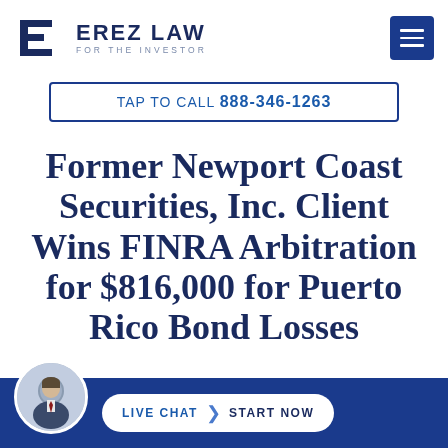[Figure (logo): Erez Law logo with stylized E icon in dark navy and text 'EREZ LAW FOR THE INVESTOR']
TAP TO CALL 888-346-1263
Former Newport Coast Securities, Inc. Client Wins FINRA Arbitration for $816,000 for Puerto Rico Bond Losses
[Figure (photo): Portrait photo of a man in suit, circular avatar in bottom chat bar]
LIVE CHAT  START NOW